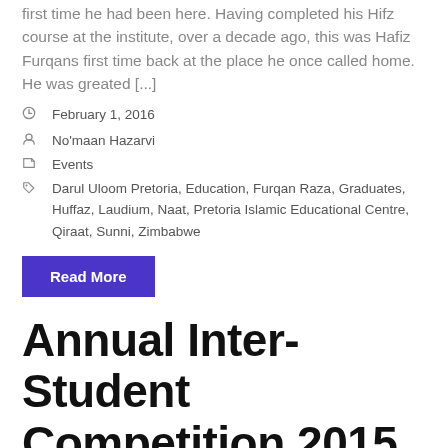first time he had been here. Having completed his Hifz course at the institute, over a decade ago, this was Hafiz Furqans first time back at the place he once called home. He was greated [...]
February 1, 2016
No'maan Hazarvi
Events
Darul Uloom Pretoria, Education, Furqan Raza, Graduates, Huffaz, Laudium, Naat, Pretoria Islamic Educational Centre, Qiraat, Sunni, Zimbabwe
Read More
Annual Inter-Student Competition 2015
[Figure (photo): Purple/lilac fabric backdrop with people partially visible at bottom edge]